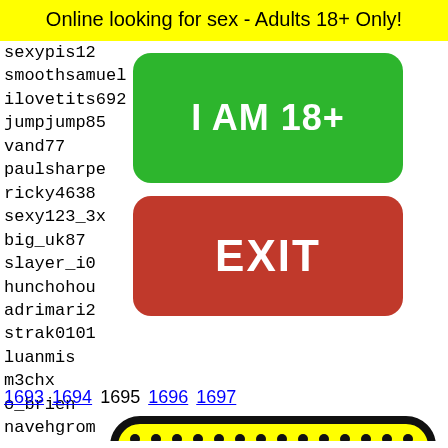Online looking for sex - Adults 18+ Only!
sexypis12
smoothsamuel
ilovetits692
jumpjump85
vand77
paulsharpe
ricky4638
sexy123_3x
big_uk87
slayer_i0
hunchohou
adrimari2
strak0101
luanmis
m3chx
o_brien
navehgrom
mountainview12
sebastian_for_real
somewillsomewont
kkkkam
flotte
ladoul
wtopha
pullnh
tyler1
[Figure (illustration): Green button labeled I AM 18+]
[Figure (illustration): Red EXIT button]
1693 1694 1695 1696 1697
[Figure (illustration): Snapchat ghost emoji on yellow background with black dots pattern]